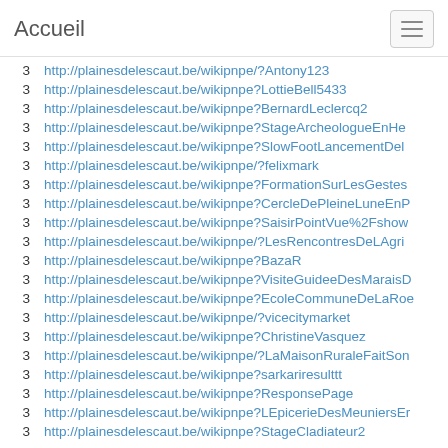Accueil
3  http://plainesdelescaut.be/wikipnpe/?Antony123
3  http://plainesdelescaut.be/wikipnpe?LottieBell5433
3  http://plainesdelescaut.be/wikipnpe?BernardLeclercq2
3  http://plainesdelescaut.be/wikipnpe?StageArcheologueEnHe…
3  http://plainesdelescaut.be/wikipnpe?SlowFootLancementDel…
3  http://plainesdelescaut.be/wikipnpe/?felixmark
3  http://plainesdelescaut.be/wikipnpe?FormationSurLesGestes…
3  http://plainesdelescaut.be/wikipnpe?CercleDePleineLuneEnP…
3  http://plainesdelescaut.be/wikipnpe?SaisirPointVue%2Fshow…
3  http://plainesdelescaut.be/wikipnpe/?LesRencontresDeLAgri…
3  http://plainesdelescaut.be/wikipnpe?BazaR
3  http://plainesdelescaut.be/wikipnpe?VisiteGuideeDesMaraisD…
3  http://plainesdelescaut.be/wikipnpe?EcoleCommuneDeLaRoe…
3  http://plainesdelescaut.be/wikipnpe/?vicecitymarket
3  http://plainesdelescaut.be/wikipnpe?ChristineVasquez
3  http://plainesdelescaut.be/wikipnpe/?LaMaisonRuraleFaitSon…
3  http://plainesdelescaut.be/wikipnpe?sarkariresulttt
3  http://plainesdelescaut.be/wikipnpe?ResponsePage
3  http://plainesdelescaut.be/wikipnpe?LEpicerieDesMeuniersEn…
3  http://plainesdelescaut.be/wikipnpe?StageCladiateur2…